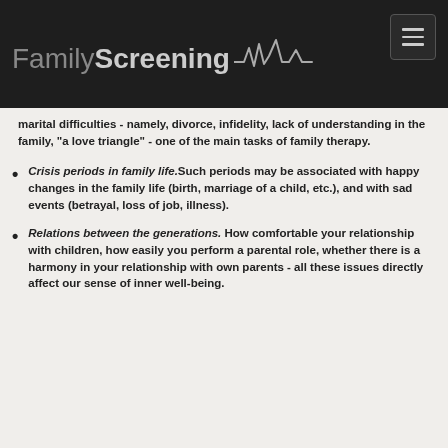FamilyScreening
marital difficulties - namely, divorce, infidelity, lack of understanding in the family, "a love triangle" - one of the main tasks of family therapy.
Crisis periods in family life. Such periods may be associated with happy changes in the family life (birth, marriage of a child, etc.), and with sad events (betrayal, loss of job, illness).
Relations between the generations. How comfortable your relationship with children, how easily you perform a parental role, whether there is a harmony in your relationship with own parents - all these issues directly affect our sense of inner well-being.